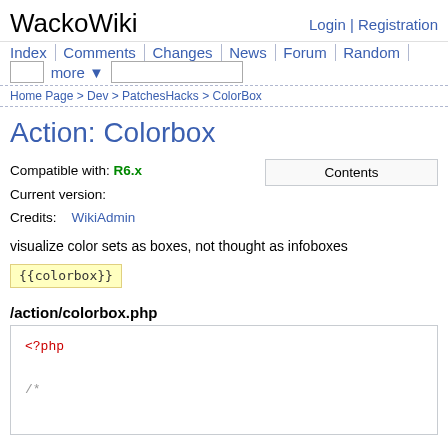WackoWiki
Login | Registration
Index | Comments | Changes | News | Forum | Random | more ▼
Home Page > Dev > PatchesHacks > ColorBox
Action: Colorbox
Compatible with: R6.x
Current version:
Credits:    WikiAdmin
Contents
visualize color sets as boxes, not thought as infoboxes
{{colorbox}}
/action/colorbox.php
<?php

/*